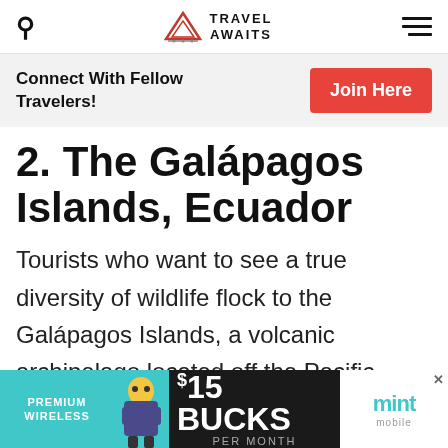Travel Awaits
Connect With Fellow Travelers! Join Here
2. The Galápagos Islands, Ecuador
Tourists who want to see a true diversity of wildlife flock to the Galápagos Islands, a volcanic archipelago located off the Pacific coas
[Figure (infographic): Advertisement banner for Mint Mobile: PREMIUM WIRELESS, $15 BUCKS PER MONTH, mint mobile logo]